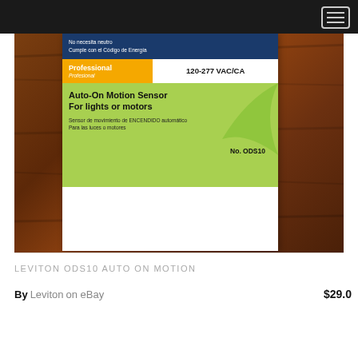[Figure (photo): Photo of a Leviton ODS10 Auto-On Motion Sensor product package lying on a wooden surface. The package shows a blue top section with Spanish text, a yellow 'Professional/Profesional' badge, '120-277 VAC/CA', a green lower section with 'Auto-On Motion Sensor For lights or motors', Spanish subtitle, and model number 'No. ODS10'.]
LEVITON ODS10 AUTO ON MOTION
By Leviton on eBay  $29.0